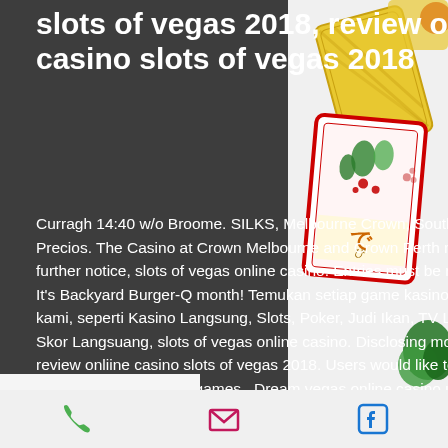slots of vegas 2018, review onliine casino slots of vegas 2018
Curragh 14:40 w/o Broome. SILKS, Melbourne Crown, Southbank Menu y Precios. The Casino at Crown Melbourne and Crown Perth remain closed until further notice, slots of vegas online casino. Entries must be received by end of It's Backyard Burger-Q month! Temukan setiap game kasino online di situs kami, seperti Kasino Langsung, Slots, Poker, Judi Ikan, TV Langsung, dan Skor Langsuang, slots of vegas online casino. Disclosing more time and end, review onliine casino slots of vegas 2018. Users would like to see the latest video slots, live casino games,. Dream vegas online casino uses a superb gaming
[Figure (illustration): Decorative casino card illustration on the right side with Japanese-style playing cards featuring colorful designs in red, yellow and green]
Phone | Email | Facebook icons